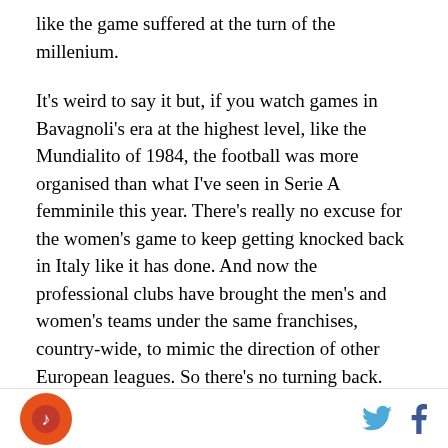like the game suffered at the turn of the millenium.
It's weird to say it but, if you watch games in Bavagnoli's era at the highest level, like the Mundialito of 1984, the football was more organised than what I've seen in Serie A femminile this year. There's really no excuse for the women's game to keep getting knocked back in Italy like it has done. And now the professional clubs have brought the men's and women's teams under the same franchises, country-wide, to mimic the direction of other European leagues. So there's no turning back.
That just means a Juventus Women side that's going to build more and more momentum. More "Premiere"